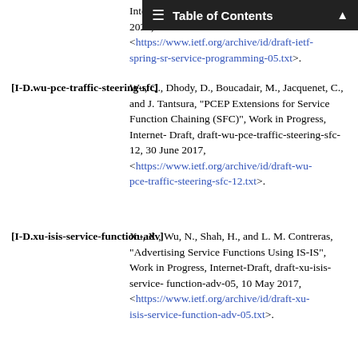Internet-Draft, programming-05, 10 September 2021, <https://www.ietf.org/archive/id/draft-ietf-spring-sr-service-programming-05.txt>.
[I-D.wu-pce-traffic-steering-sfc]  Wu, Q., Dhody, D., Boucadair, M., Jacquenet, C., and J. Tantsura, "PCEP Extensions for Service Function Chaining (SFC)", Work in Progress, Internet-Draft, draft-wu-pce-traffic-steering-sfc-12, 30 June 2017, <https://www.ietf.org/archive/id/draft-wu-pce-traffic-steering-sfc-12.txt>.
[I-D.xu-isis-service-function-adv]  Xu, X., Wu, N., Shah, H., and L. M. Contreras, "Advertising Service Functions Using IS-IS", Work in Progress, Internet-Draft, draft-xu-isis-service-function-adv-05, 10 May 2017, <https://www.ietf.org/archive/id/draft-xu-isis-service-function-adv-05.txt>.